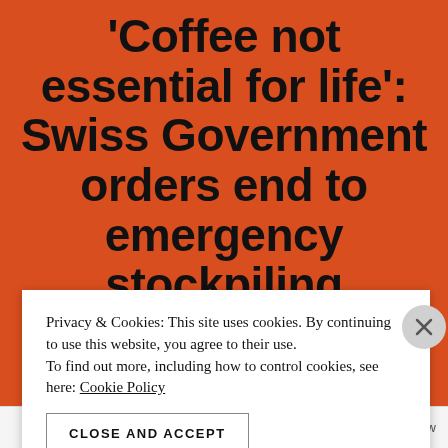'Coffee not essential for life': Swiss Government orders end to emergency stockpiling
Privacy & Cookies: This site uses cookies. By continuing to use this website, you agree to their use.
To find out more, including how to control cookies, see here: Cookie Policy
CLOSE AND ACCEPT
Follow